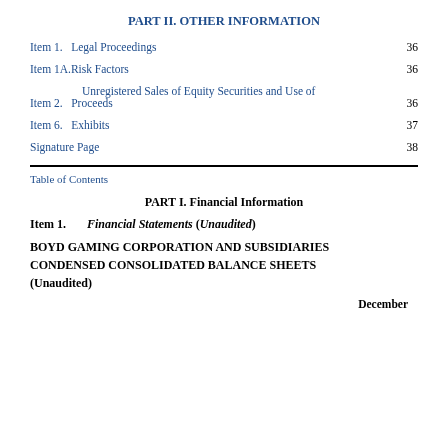PART II. OTHER INFORMATION
Item 1.   Legal Proceedings  36
Item 1A. Risk Factors  36
Item 2.   Unregistered Sales of Equity Securities and Use of Proceeds  36
Item 6.   Exhibits  37
Signature Page  38
Table of Contents
PART I. Financial Information
Item 1.   Financial Statements (Unaudited)
BOYD GAMING CORPORATION AND SUBSIDIARIES CONDENSED CONSOLIDATED BALANCE SHEETS (Unaudited)
December